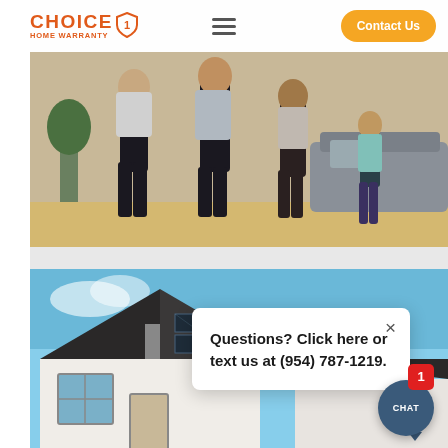[Figure (screenshot): Choice Home Warranty website screenshot showing navigation bar with orange logo, hamburger menu, and orange Contact Us button]
[Figure (photo): Family jumping joyfully in a living room]
[Figure (photo): House with solar panels on roof against blue sky]
Questions? Click here or text us at (954) 787-1219.
CHAT
1